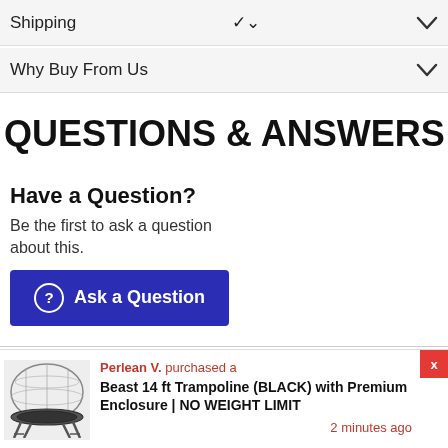Shipping
Why Buy From Us
QUESTIONS & ANSWERS
Have a Question?
Be the first to ask a question about this.
Ask a Question
Perlean V. purchased a
Beast 14 ft Trampoline (BLACK) with Premium Enclosure | NO WEIGHT LIMIT
2 minutes ago